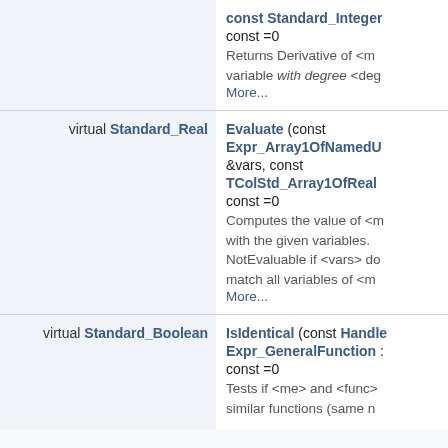| modifier/type | name/description |
| --- | --- |
|  | const Standard_Integer
const =0
Returns Derivative of <me> variable with degree <deg More... |
| virtual Standard_Real | Evaluate (const Expr_Array1OfNamedU &vars, const TColStd_Array1OfReal
const =0
Computes the value of <m with the given variables. NotEvaluable if <vars> do match all variables of <m More... |
| virtual Standard_Boolean | IsIdentical (const Handle Expr_GeneralFunction :
const =0
Tests if <me> and <func> similar functions (same n |